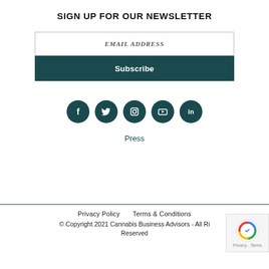SIGN UP FOR OUR NEWSLETTER
EMAIL ADDRESS
Subscribe
[Figure (infographic): Five social media icon circles (Facebook, Twitter, Instagram, YouTube, LinkedIn) in dark teal color]
Press
Privacy Policy   Terms & Conditions
© Copyright 2021 Cannabis Business Advisors - All Rights Reserved